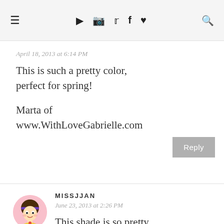≡  ▶  📷  🐦  f  ♥  🔍
April 18, 2013 at 6:14 PM
This is such a pretty color, perfect for spring!
Marta of www.WithLoveGabrielle.com
MISSJJAN
June 23, 2013 at 2:26 PM
This shade is so pretty, feminine and cute! ♥♥